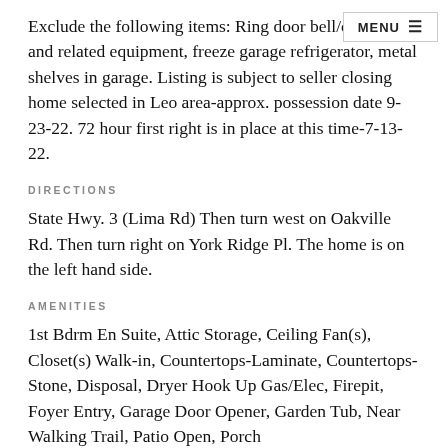Exclude the following items: Ring door bell/camera and related equipment, freezer, garage refrigerator, metal shelves in garage. Listing is subject to seller closing home selected in Leo area-approx. possession date 9-23-22. 72 hour first right is in place at this time-7-13-22.
DIRECTIONS
State Hwy. 3 (Lima Rd) Then turn west on Oakville Rd. Then turn right on York Ridge Pl. The home is on the left hand side.
AMENITIES
1st Bdrm En Suite, Attic Storage, Ceiling Fan(s), Closet(s) Walk-in, Countertops-Laminate, Countertops-Stone, Disposal, Dryer Hook Up Gas/Elec, Firepit, Foyer Entry, Garage Door Opener, Garden Tub, Near Walking Trail, Patio Open, Porch